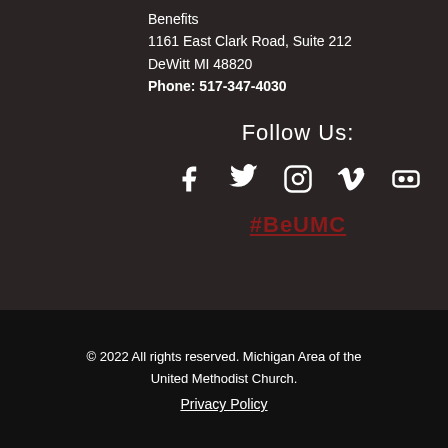Benefits
1161 East Clark Road, Suite 212
DeWitt MI 48820
Phone: 517-347-4030
Follow Us:
[Figure (illustration): Social media icons: Facebook, Twitter, Instagram, Vimeo, Flickr]
#BeUMC
© 2022 All rights reserved. Michigan Area of the United Methodist Church.
Privacy Policy